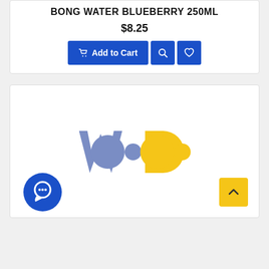BONG WATER BLUEBERRY 250ML
$8.25
[Figure (logo): WODO brand logo with blue-grey 'WO' and yellow 'DO' letters, plus a dark blue circular chat icon and a yellow scroll-to-top button]